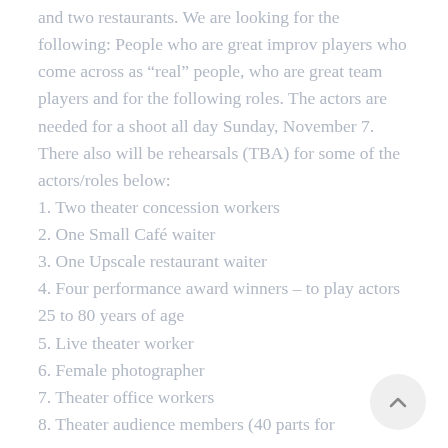and two restaurants. We are looking for the following: People who are great improv players who come across as “real” people, who are great team players and for the following roles. The actors are needed for a shoot all day Sunday, November 7. There also will be rehearsals (TBA) for some of the actors/roles below:
1. Two theater concession workers
2. One Small Café waiter
3. One Upscale restaurant waiter
4. Four performance award winners – to play actors 25 to 80 years of age
5. Live theater worker
6. Female photographer
7. Theater office workers
8. Theater audience members (40 parts for